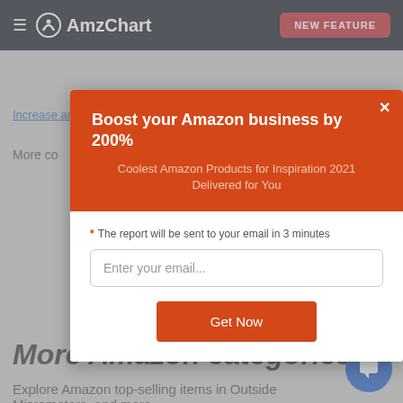AmzChart | NEW FEATURE
Increase amazon sales rank
More co...
Boost your Amazon business by 200%
Coolest Amazon Products for Inspiration 2021 Delivered for You
* The report will be sent to your email in 3 minutes
Enter your email...
Get Now
More Amazon categories
Explore Amazon top-selling items in Outside Micrometers, and more